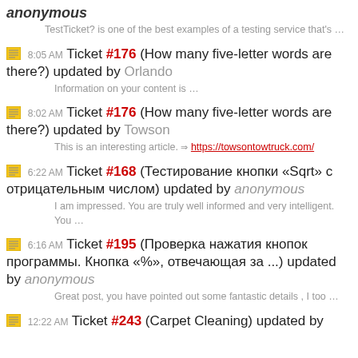anonymous
TestTicket? is one of the best examples of a testing service that's …
8:05 AM Ticket #176 (How many five-letter words are there?) updated by Orlando
Information on your content is …
8:02 AM Ticket #176 (How many five-letter words are there?) updated by Towson
This is an interesting article. ⇒ https://towsontowtruck.com/
6:22 AM Ticket #168 (Тестирование кнопки «Sqrt» с отрицательным числом) updated by anonymous
I am impressed. You are truly well informed and very intelligent. You …
6:16 AM Ticket #195 (Проверка нажатия кнопок программы. Кнопка «%», отвечающая за ...) updated by anonymous
Great post, you have pointed out some fantastic details , I too …
12:22 AM Ticket #243 (Carpet Cleaning) updated by